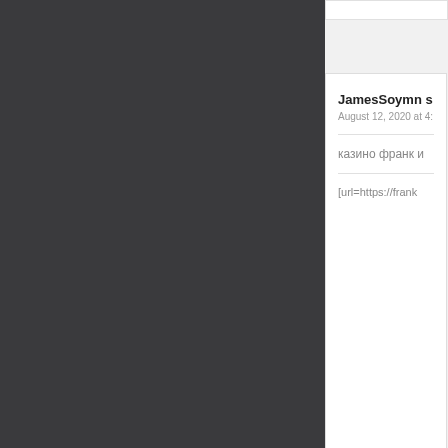JamesSoymn s
August 12, 2020 at 4:
казино франк и
[url=https://frank
GawNuaks says
August 12, 2020 at 5:
Строгий совре фасадов здани Наиболее при которая не тре стеновой мате